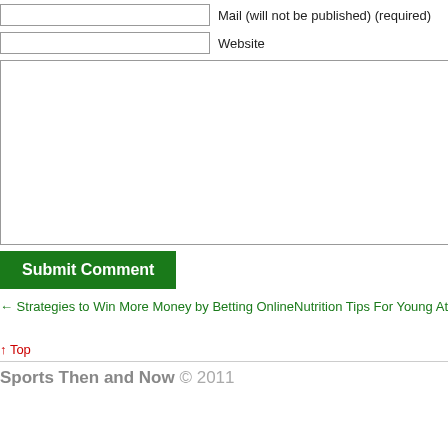Mail (will not be published) (required)
Website
Submit Comment
← Strategies to Win More Money by Betting Online
Nutrition Tips For Young At
↑ Top
Sports Then and Now © 2011